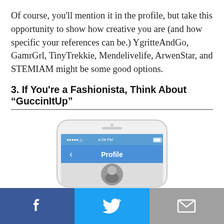Of course, you'll mention it in the profile, but take this opportunity to show how creative you are (and how specific your references can be.) YgritteAndGo, GamrGrl, TinyTrekkie, Mendelivelife, ArwenStar, and STEMIAM might be some good options.
3. If You're a Fashionista, Think About “GuccinItUp”
The Kardashians got nothin’ on you. You follow the latest trends, can spot a Chinatown-fake Gucci a mile away, and always have the right shoes for the right occasion.
[Figure (screenshot): Partial screenshot of a smartphone showing a Tinder-like app profile screen with blue header bar labeled 'Profile']
[Figure (other): Social sharing footer bar with Facebook (blue), Twitter (light blue), and email/envelope (gray) icons]